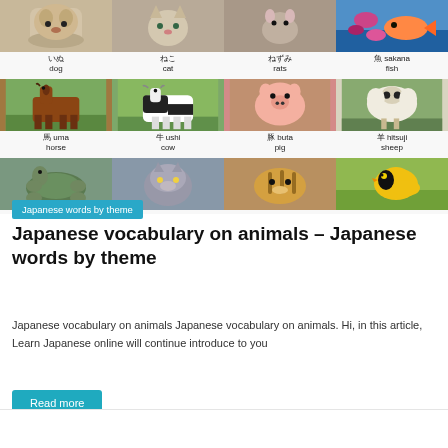[Figure (photo): Grid of animal photos with Japanese and English labels. Row 1: dog (いぬ), cat (ねこ), rats (ねずみ), fish (魚 sakana). Row 2: horse (馬 uma), cow (牛 ushi), pig (豚 buta), sheep (羊 hitsuji). Row 3 partial: turtle, wolf, tiger, bird.]
Japanese words by theme
Japanese vocabulary on animals – Japanese words by theme
Japanese vocabulary on animals Japanese vocabulary on animals. Hi, in this article, Learn Japanese online will continue introduce to you
Read more